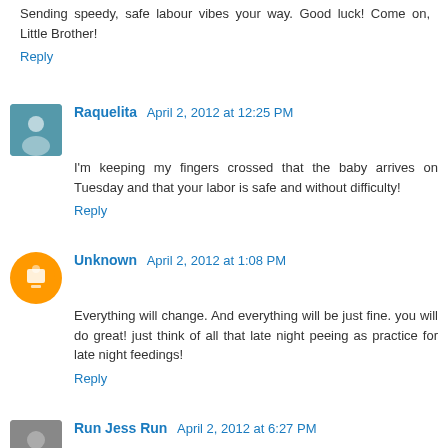Sending speedy, safe labour vibes your way. Good luck! Come on, Little Brother!
Reply
Raquelita April 2, 2012 at 12:25 PM
I'm keeping my fingers crossed that the baby arrives on Tuesday and that your labor is safe and without difficulty!
Reply
Unknown April 2, 2012 at 1:08 PM
Everything will change. And everything will be just fine. you will do great! just think of all that late night peeing as practice for late night feedings!
Reply
Run Jess Run April 2, 2012 at 6:27 PM